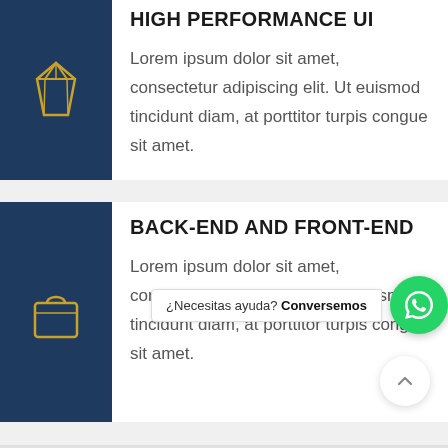[Figure (illustration): Diamond gem icon in gold/yellow outline on dark navy blue square background]
HIGH PERFORMANCE UI
Lorem ipsum dolor sit amet, consectetur adipiscing elit. Ut euismod tincidunt diam, at porttitor turpis congue sit amet.
[Figure (illustration): Shopping bag / purse icon in gold/yellow outline on dark navy blue square background]
BACK-END AND FRONT-END
Lorem ipsum dolor sit amet, consectetur adipiscing elit. Ut euismod tincidunt diam, at porttitor turpis congue sit amet.
¿Necesitas ayuda? Conversemos